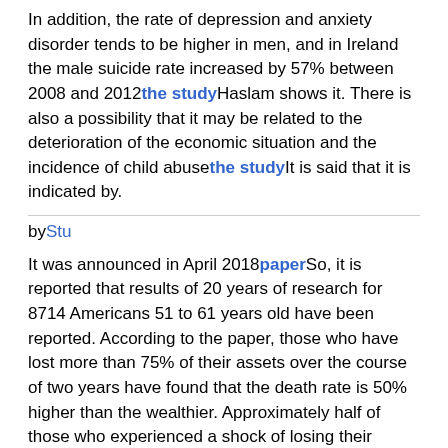In addition, the rate of depression and anxiety disorder tends to be higher in men, and in Ireland the male suicide rate increased by 57% between 2008 and 2012the studyHaslam shows it. There is also a possibility that it may be related to the deterioration of the economic situation and the incidence of child abusethe studyIt is said that it is indicated by.
byStu
It was announced in April 2018paperSo, it is reported that results of 20 years of research for 8714 Americans 51 to 61 years old have been reported. According to the paper, those who have lost more than 75% of their assets over the course of two years have found that the death rate is 50% higher than the wealthier. Approximately half of those who experienced a shock of losing their property died without waiting